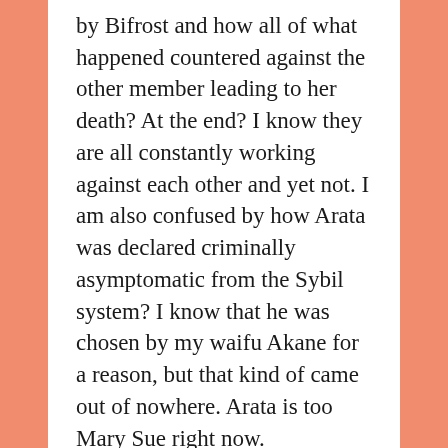by Bifrost and how all of what happened countered against the other member leading to her death? At the end? I know they are all constantly working against each other and yet not. I am also confused by how Arata was declared criminally asymptomatic from the Sybil system? I know that he was chosen by my waifu Akane for a reason, but that kind of came out of nowhere. Arata is too Mary Sue right now.
I was getting ahead of myself with all of that. I should probably talk about the plot first. Today's episode was about Kei, Mao, and Kei's wife Maika escaping from Heaven's Leap. It first started with Kei somehow in a position to allow Mao to escape from Heaven's Leap